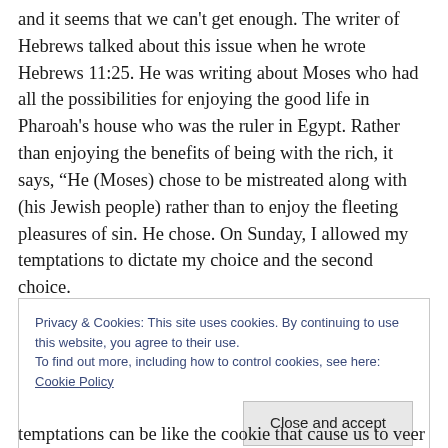and it seems that we can't get enough. The writer of Hebrews talked about this issue when he wrote Hebrews 11:25. He was writing about Moses who had all the possibilities for enjoying the good life in Pharoah's house who was the ruler in Egypt. Rather than enjoying the benefits of being with the rich, it says, “He (Moses) chose to be mistreated along with (his Jewish people) rather than to enjoy the fleeting pleasures of sin. He chose. On Sunday, I allowed my temptations to dictate my choice and the second choice.
Privacy & Cookies: This site uses cookies. By continuing to use this website, you agree to their use.
To find out more, including how to control cookies, see here: Cookie Policy
Close and accept
temptations can be like the cookie that cause us to veer